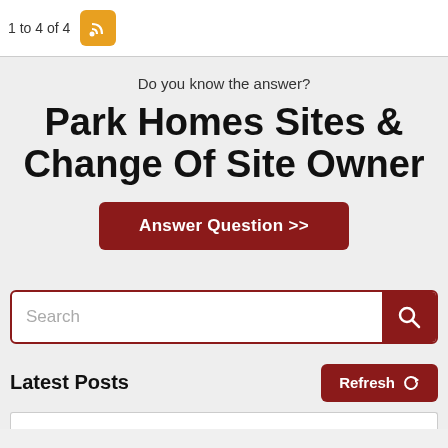1 to 4 of 4
Do you know the answer?
Park Homes Sites & Change Of Site Owner
Answer Question >>
[Figure (other): Search input bar with magnifying glass icon on dark red background]
Latest Posts
Refresh